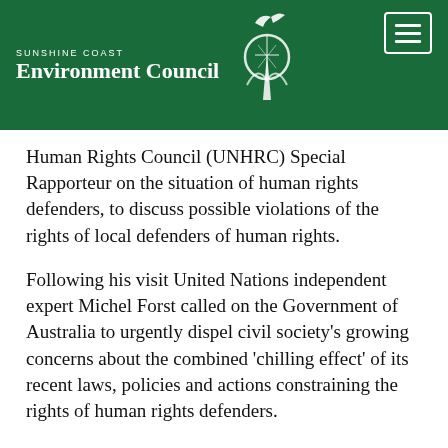[Figure (logo): Sunshine Coast Environment Council logo with tree and bird icon on green header bar]
Human Rights Council (UNHRC) Special Rapporteur on the situation of human rights defenders, to discuss possible violations of the rights of local defenders of human rights.
Following his visit United Nations independent expert Michel Forst called on the Government of Australia to urgently dispel civil society's growing concerns about the combined 'chilling effect' of its recent laws, policies and actions constraining the rights of human rights defenders.